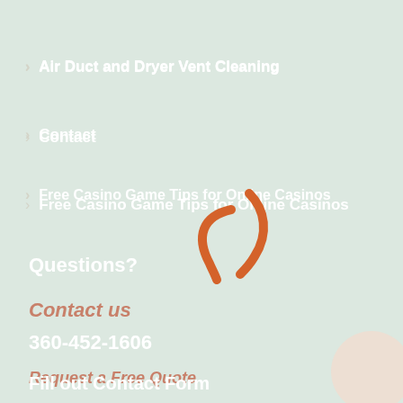Air Duct and Dryer Vent Cleaning
Contact
Free Casino Game Tips for Online Casinos
Home Page
On-Line Specials
[Figure (illustration): Orange loading spinner / circular arrow icon]
Questions?
Contact us
360-452-1606
Request a Free Quote
Fill out Contact Form